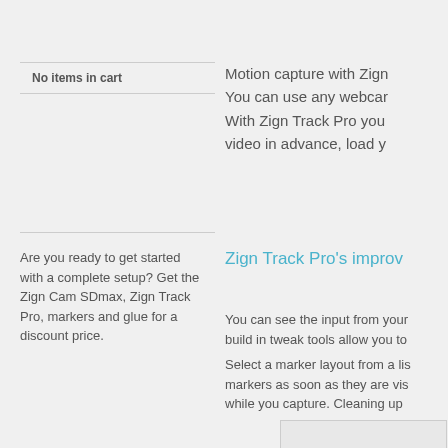No items in cart
Are you ready to get started with a complete setup? Get the Zign Cam SDmax, Zign Track Pro, markers and glue for a discount price.
Motion capture with Zign You can use any webcam With Zign Track Pro you video in advance, load y
Zign Track Pro's improv
You can see the input from your build in tweak tools allow you to
Select a marker layout from a lis markers as soon as they are vis while you capture. Cleaning up